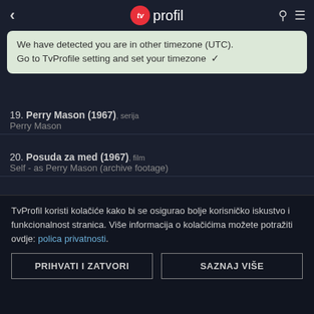tv profil
We have detected you are in other timezone (UTC). Go to TvProfile setting and set your timezone ✓
19. Perry Mason (1967), serija — Perry Mason
20. Posuda za med (1967), film — Self - as Perry Mason (archive footage)
21. The Curse of King Tut's Tomb (1980), film — Jonash Sabastian
TvProfil koristi kolačiće kako bi se osigurao bolje korisničko iskustvo i funkcionalnost stranica. Više informacija o kolačićima možete potražiti ovdje: polica privatnosti.
PRIHVATI I ZATVORI   SAZNAJ VIŠE